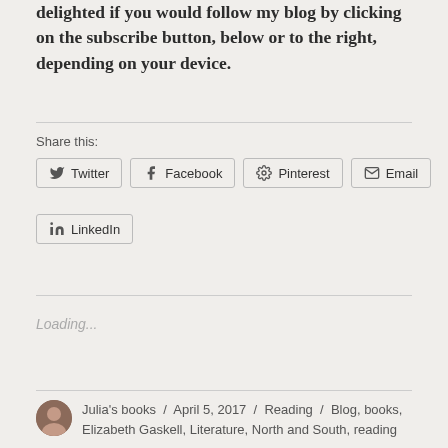delighted if you would follow my blog by clicking on the subscribe button, below or to the right, depending on your device.
Share this:
Twitter | Facebook | Pinterest | Email | LinkedIn
Loading...
Julia's books / April 5, 2017 / Reading / Blog, books, Elizabeth Gaskell, Literature, North and South, reading